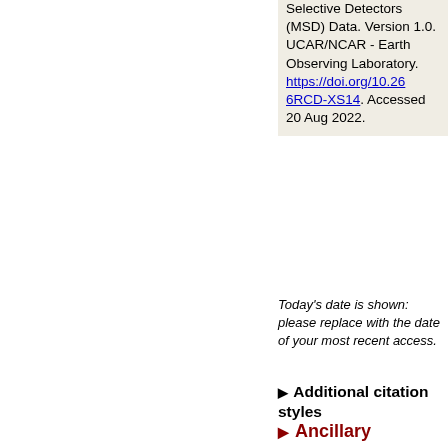Selective Detectors (MSD) Data. Version 1.0. UCAR/NCAR - Earth Observing Laboratory. https://doi.org/10.266RCD-XS14. Accessed 20 Aug 2022.
Today's date is shown: please replace with the date of your most recent access.
Additional citation styles
Ancillary